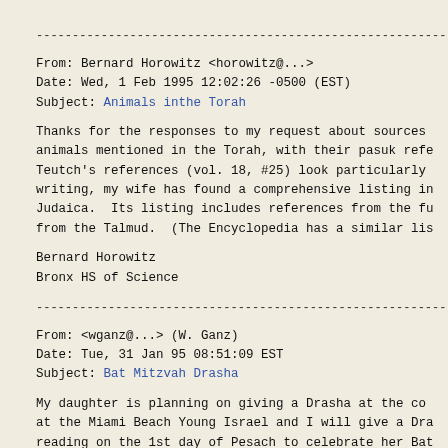------------------------------------------------------------
From: Bernard Horowitz <horowitz@...>
Date: Wed, 1 Feb 1995 12:02:26 -0500 (EST)
Subject: Animals inthe Torah
Thanks for the responses to my request about sources animals mentioned in the Torah, with their pasuk refe Teutch's references (vol. 18, #25) look particularly writing, my wife has found a comprehensive listing in Judaica.  Its listing includes references from the fu from the Talmud.  (The Encyclopedia has a similar lis
Bernard Horowitz
Bronx HS of Science
------------------------------------------------------------
From: <wganz@...> (W. Ganz)
Date: Tue, 31 Jan 95 08:51:09 EST
Subject: Bat Mitzvah Drasha
My daughter is planning on giving a Drasha at the co at the Miami Beach Young Israel and I will give a Dra reading on the 1st day of Pesach to celebrate her Bat daughter asked for my help and I am asking for your h